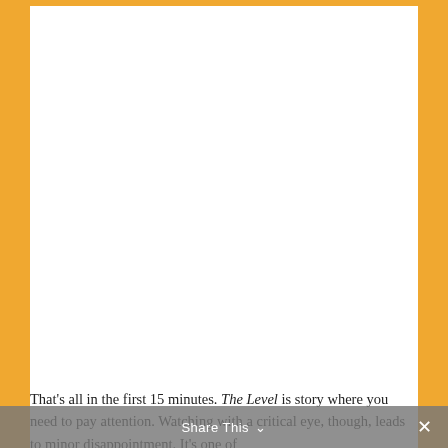[Figure (other): Large white blank content area on an orange/amber background, representing a page with an image or content area above the text]
That's all in the first 15 minutes. The Level is story where you need to pay attention. Watching with a critical eye, though, leads to minor disappointment. It's one of